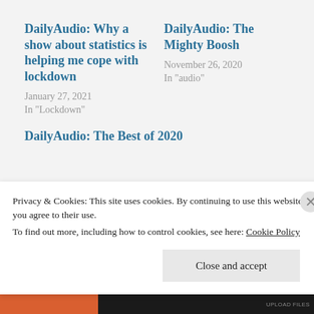DailyAudio: Why a show about statistics is helping me cope with lockdown
January 27, 2021
In "Lockdown"
DailyAudio: The Mighty Boosh
November 26, 2020
In "audio"
DailyAudio: The Best of 2020
Privacy & Cookies: This site uses cookies. By continuing to use this website, you agree to their use.
To find out more, including how to control cookies, see here: Cookie Policy
Close and accept